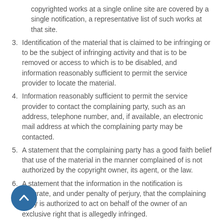copyrighted works at a single online site are covered by a single notification, a representative list of such works at that site.
3. Identification of the material that is claimed to be infringing or to be the subject of infringing activity and that is to be removed or access to which is to be disabled, and information reasonably sufficient to permit the service provider to locate the material.
4. Information reasonably sufficient to permit the service provider to contact the complaining party, such as an address, telephone number, and, if available, an electronic mail address at which the complaining party may be contacted.
5. A statement that the complaining party has a good faith belief that use of the material in the manner complained of is not authorized by the copyright owner, its agent, or the law.
6. A statement that the information in the notification is accurate, and under penalty of perjury, that the complaining party is authorized to act on behalf of the owner of an exclusive right that is allegedly infringed.
If you prefer to contact us via email, please use the contact form on our website.
Please note that under Section 512(f) any person knowingly materially misrepresents that material or activity is infringing may be subject to liability for damages. Please also note that the